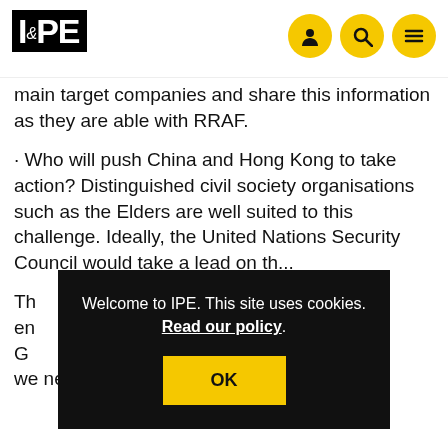IPE
main target companies and share this information as they are able with RRAF.
· Who will push China and Hong Kong to take action? Distinguished civil society organisations such as the Elders are well suited to this challenge. Ideally, the United Nations Security Council would take a lead on th...
Th... en... G... we need transformational change.
Welcome to IPE. This site uses cookies. Read our policy.
OK
Moving beyond ESG alpha, we need strategies that are fit for purpose when it comes to urgent systemic